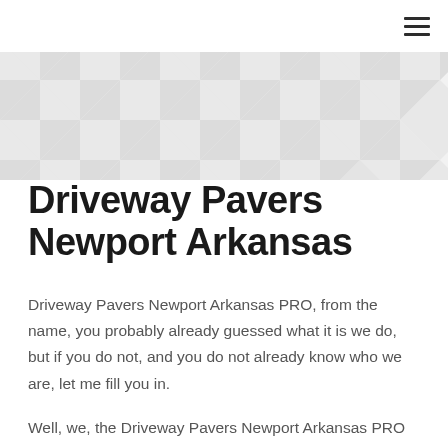[Figure (illustration): Geometric diamond/triangle tile pattern background in light gray on white, used as hero section background]
Driveway Pavers Newport Arkansas
Driveway Pavers Newport Arkansas PRO, from the name, you probably already guessed what it is we do, but if you do not, and you do not already know who we are, let me fill you in.
Well, we, the Driveway Pavers Newport Arkansas PRO are a professional hardscape and paving company based in Newport and we professionally serve the state of Ark...